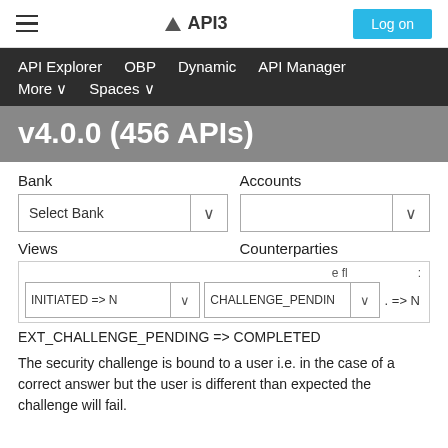API3 — Log on
API Explorer   OBP   Dynamic   API Manager   More ∨   Spaces ∨
v4.0.0 (456 APIs)
Bank   Accounts   Select Bank   Views   Counterparties
INITIATED => N∨   CHALLENGE_PENDIN∨   . => N   EXT_CHALLENGE_PENDING => COMPLETED
The security challenge is bound to a user i.e. in the case of a correct answer but the user is different than expected the challenge will fail.